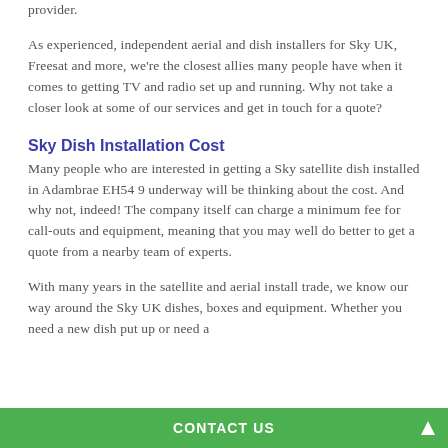provider.
As experienced, independent aerial and dish installers for Sky UK, Freesat and more, we're the closest allies many people have when it comes to getting TV and radio set up and running. Why not take a closer look at some of our services and get in touch for a quote?
Sky Dish Installation Cost
Many people who are interested in getting a Sky satellite dish installed in Adambrae EH54 9 underway will be thinking about the cost. And why not, indeed! The company itself can charge a minimum fee for call-outs and equipment, meaning that you may well do better to get a quote from a nearby team of experts.
With many years in the satellite and aerial install trade, we know our way around the Sky UK dishes, boxes and equipment. Whether you need a new dish put up or need a
CONTACT US